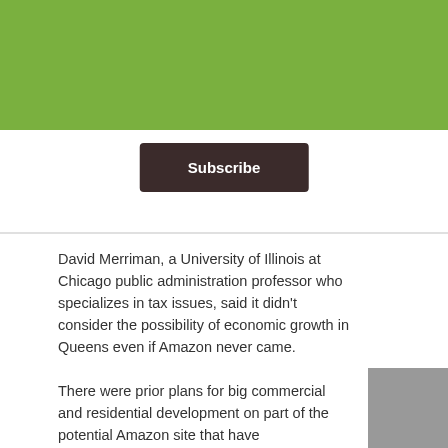Sign up below to receive our weekly market report and regular updates.
Subscribe
David Merriman, a University of Illinois at Chicago public administration professor who specializes in tax issues, said it didn't consider the possibility of economic growth in Queens even if Amazon never came.
There were prior plans for big commercial and residential development on part of the potential Amazon site that have